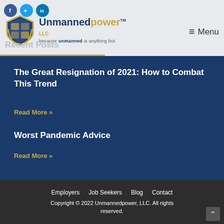[Figure (logo): Unmannedpower LLC logo with shield emblem and tagline 'because unmanned is anything but']
Recent Posts
The Great Resignation of 2021: How to Combat This Trend
Read More »
Worst Pandemic Advice
Read More »
Employers   Job Seekers   Blog   Contact
Copyright © 2022 Unmannedpower, LLC. All rights reserved.